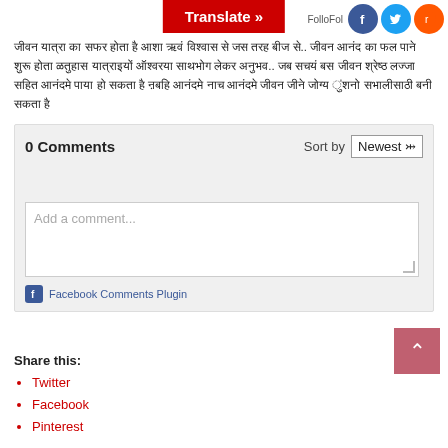[Figure (screenshot): Translate button (red) and social media icons (Facebook, Twitter, Reddit) in top bar]
Hindi/Devanagari script text paragraph
[Figure (screenshot): Facebook Comments plugin widget showing 0 Comments, Sort by Newest dropdown, Add a comment text area, and Facebook Comments Plugin footer]
Share this:
Twitter
Facebook
Pinterest